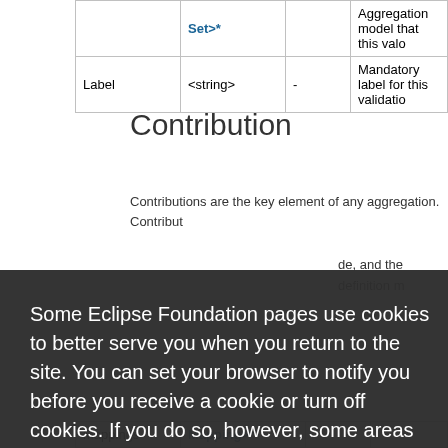|  |  |  |  |
| --- | --- | --- | --- |
|  | Set>* |  | Aggregation model that this vali… |
| Label | <string> | - | Mandatory label for this validatio… |
Contribution
Contributions are the key element of any aggregation. Contribut… de, and the… definition m…
Some Eclipse Foundation pages use cookies to better serve you when you return to the site. You can set your browser to notify you before you receive a cookie or turn off cookies. If you do so, however, some areas of some sites may not function properly. To read Eclipse Foundation Privacy Policy click here.
Decline
Allow cookies
|  |  |  |
| --- | --- | --- |
| Mappings | Mapping>* |  |